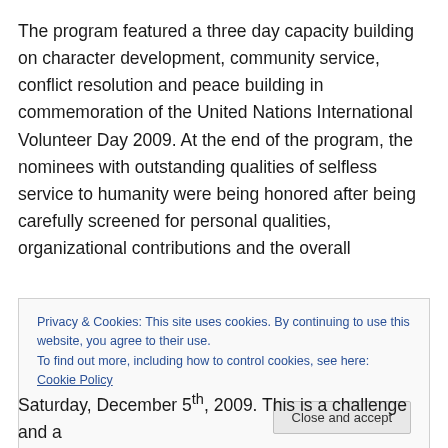The program featured a three day capacity building on character development, community service, conflict resolution and peace building in commemoration of the United Nations International Volunteer Day 2009. At the end of the program, the nominees with outstanding qualities of selfless service to humanity were being honored after being carefully screened for personal qualities, organizational contributions and the overall
Privacy & Cookies: This site uses cookies. By continuing to use this website, you agree to their use.
To find out more, including how to control cookies, see here: Cookie Policy
Saturday, December 5th, 2009. This is a challenge and a